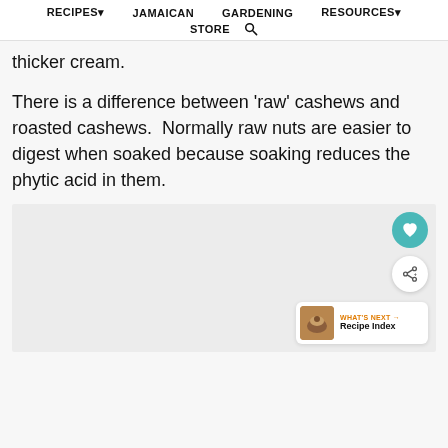RECIPES▾   JAMAICAN   GARDENING   RESOURCES▾   STORE 🔍
thicker cream.
There is a difference between ‘raw’ cashews and roasted cashews.  Normally raw nuts are easier to digest when soaked because soaking reduces the phytic acid in them.
[Figure (photo): Partial image placeholder area with a heart/save button (teal circle), a share button (white circle with share icon), and a 'WHAT'S NEXT → Recipe Index' card in the bottom right.]